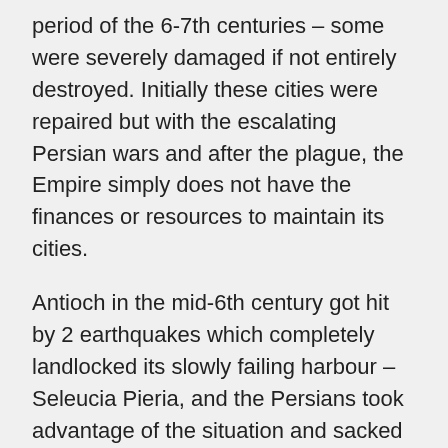period of the 6-7th centuries – some were severely damaged if not entirely destroyed. Initially these cities were repaired but with the escalating Persian wars and after the plague, the Empire simply does not have the finances or resources to maintain its cities.
Antioch in the mid-6th century got hit by 2 earthquakes which completely landlocked its slowly failing harbour – Seleucia Pieria, and the Persians took advantage of the situation and sacked it thoroughly. It never recovered from those events so the 3rd greatest city of the Christian world was lost even in the 'golden-age' of Justinian. This